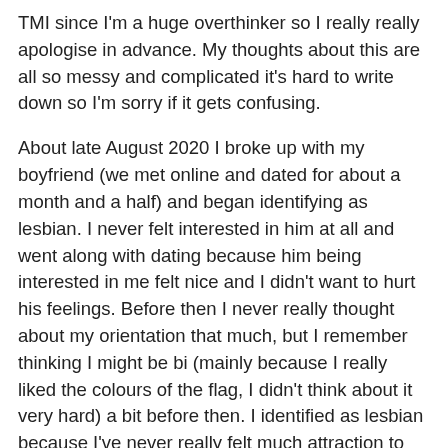TMI since I'm a huge overthinker so I really really apologise in advance. My thoughts about this are all so messy and complicated it's hard to write down so I'm sorry if it gets confusing.
About late August 2020 I broke up with my boyfriend (we met online and dated for about a month and a half) and began identifying as lesbian. I never felt interested in him at all and went along with dating because him being interested in me felt nice and I didn't want to hurt his feelings. Before then I never really thought about my orientation that much, but I remember thinking I might be bi (mainly because I really liked the colours of the flag, I didn't think about it very hard) a bit before then. I identified as lesbian because I've never really felt much attraction to men other than wanting to be seen as pretty by them, and looking back I realised I've always showed an attraction to women. I kissed my girl best friend when I was nine and when I was around four I remember playing a game with (another) girl best friend where we touched each others